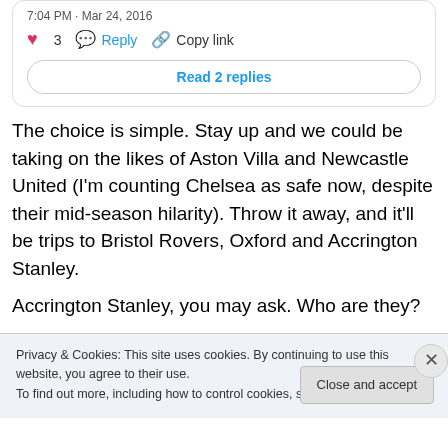7:04 PM · Mar 24, 2016
♥ 3  Reply  Copy link
Read 2 replies
The choice is simple. Stay up and we could be taking on the likes of Aston Villa and Newcastle United (I'm counting Chelsea as safe now, despite their mid-season hilarity). Throw it away, and it'll be trips to Bristol Rovers, Oxford and Accrington Stanley.
Accrington Stanley, you may ask. Who are they?
Privacy & Cookies: This site uses cookies. By continuing to use this website, you agree to their use.
To find out more, including how to control cookies, see here: Cookie Policy
Close and accept